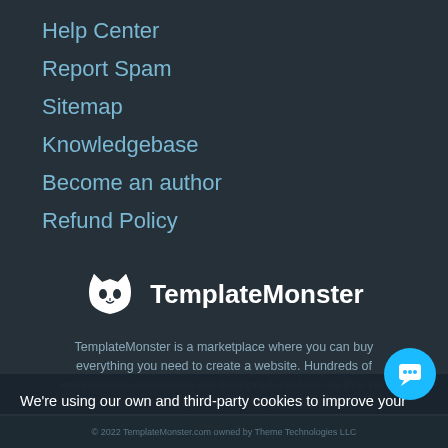Help Center
Report Spam
Sitemap
Knowledgebase
Become an author
Refund Policy
[Figure (logo): TemplateMonster logo — cat/monster face icon in white with text TemplateMonster]
TemplateMonster is a marketplace where you can buy everything you need to create a website. Hundreds of independent developers sell their products here so that you can find the right product for your project.
We're using our own and third-party cookies to improve your experience and our website. Keep on browsing to accept our cookie policy.
Accept
© 2022 TemplateMonster.com owned by Theme Technologies LLC